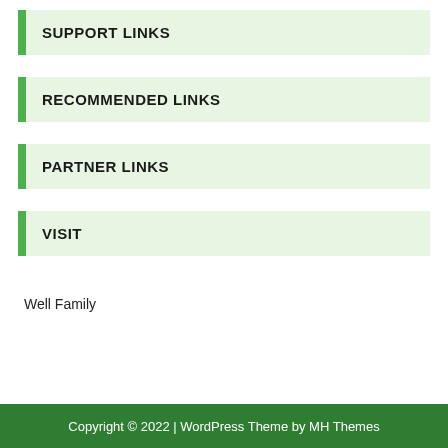SUPPORT LINKS
RECOMMENDED LINKS
PARTNER LINKS
VISIT
Well Family
Copyright © 2022 | WordPress Theme by MH Themes